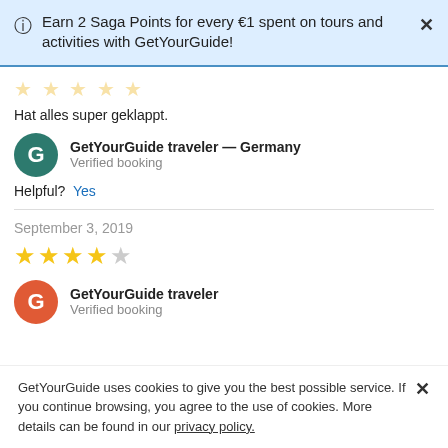Earn 2 Saga Points for every €1 spent on tours and activities with GetYourGuide!
[Figure (other): Faded gold star rating (partial, cut off at top)]
Hat alles super geklappt.
GetYourGuide traveler — Germany
Verified booking
Helpful? Yes
September 3, 2019
[Figure (other): 4 out of 5 gold stars rating]
GetYourGuide traveler
Verified booking
GetYourGuide uses cookies to give you the best possible service. If you continue browsing, you agree to the use of cookies. More details can be found in our privacy policy.